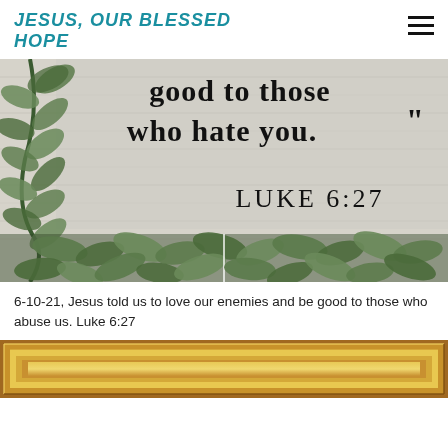JESUS, OUR BLESSED HOPE
[Figure (photo): Bible verse image on wood plank background with eucalyptus plant vine on left side. Text reads: 'good to those who hate you.' LUKE 6:27. Bottom portion shows a strip of green eucalyptus leaves.]
6-10-21, Jesus told us to love our enemies and be good to those who abuse us. Luke 6:27
[Figure (photo): Bottom partial view of a golden wooden picture frame.]